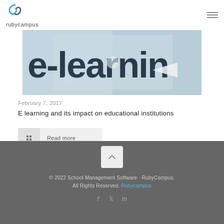rubycampus
[Figure (photo): Close-up photo of puzzle pieces with 'e-learning' text printed on them in dark blue, partially cropped]
February 7, 2017
E learning and its impact on educational institutions
Read more
© 2022 School Management Software - RubyCampus. All Rights Reserved. Rubycampus